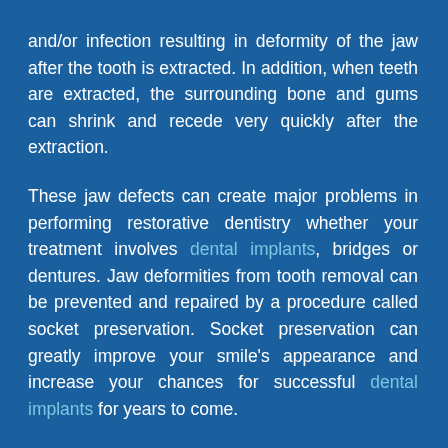and/or infection resulting in deformity of the jaw after the tooth is extracted. In addition, when teeth are extracted, the surrounding bone and gums can shrink and recede very quickly after the extraction.
These jaw defects can create major problems in performing restorative dentistry whether your treatment involves dental implants, bridges or dentures. Jaw deformities from tooth removal can be prevented and repaired by a procedure called socket preservation. Socket preservation can greatly improve your smile's appearance and increase your chances for successful dental implants for years to come.